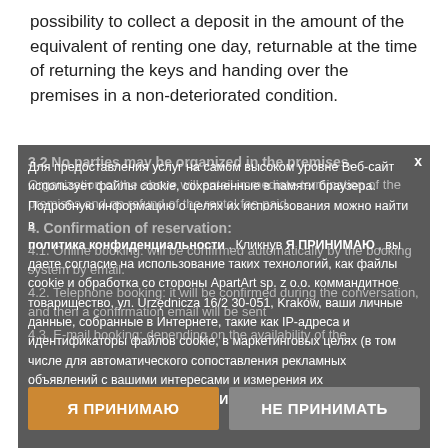possibility to collect a deposit in the amount of the equivalent of renting one day, returnable at the time of returning the keys and handing over the premises in a non-deteriorated condition.
3.2 No parties may be organized in the premises.
Organization of the above will entail immediate termination of the premises and no refund of the rental fee paid.
4. Confirmation of reservation:
4.1. Online booking: will be confirmed automatically by the booking system by email.
4.2. Telephone booking: it will be confirmed during the conversation, and then a confirmation email will be sent
4.3. E-mail booking: depending on the availability of the
Для предоставления услуг на самом высоком уровне Веб-сайт использует файлы cookie, сохраненные в памяти браузера. Подробную информацию о целях их использования можно найти в политика конфиденциальности . Кликнув Я ПРИНИМАЮ , вы даете согласие на использование таких технологий, как файлы cookie и обработка со стороны ApartArt sp. z o.o. коммандитное товарищество, ул. Urzędnicza 16/2 30-051, Kraków, ваши личные данные, собранные в Интернете, такие как IP-адреса и идентификаторы файлов cookie, в маркетинговых целях (в том числе для автоматического сопоставления рекламных объявлений с вашими интересами и измерения их эффективности). Кликнув НЕ ПРИНИМАТЬ , вы не согласны.
Я ПРИНИМАЮ
НЕ ПРИНИМАТЬ